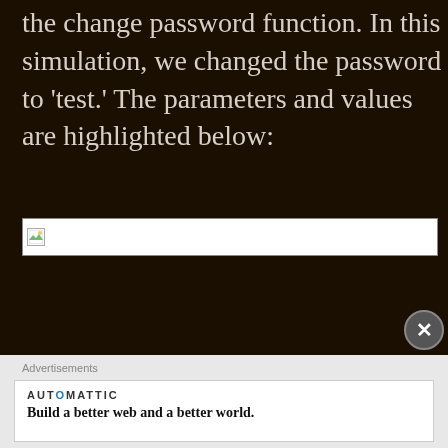the change password function. In this simulation, we changed the password to 'test.' The parameters and values are highlighted below:
[Figure (screenshot): Broken/missing image placeholder showing a small image icon with a border]
[Figure (other): Close/dismiss button (X in circle) at bottom right of dark section]
Advertisements
[Figure (other): Automattic advertisement banner: 'Build a better web and a better world.']